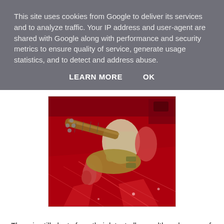This site uses cookies from Google to deliver its services and to analyze traffic. Your IP address and user-agent are shared with Google along with performance and security metrics to ensure quality of service, generate usage statistics, and to detect and address abuse.
LEARN MORE   OK
[Figure (photo): Overhead/aerial view of a musician playing a bass guitar on stage under deep red lighting, wearing a light-colored shirt, with reflective plastic sheeting on the stage floor.]
There is still plenty from their latest album, although some of which I find a little bit too plodding... by their standards unlike the explosiveness of their earlier stuff. That said two of the best moments tonight are slower (but older) songs - a sublime version of ‘Sycamore Tree’ and the always excellent ‘Piece